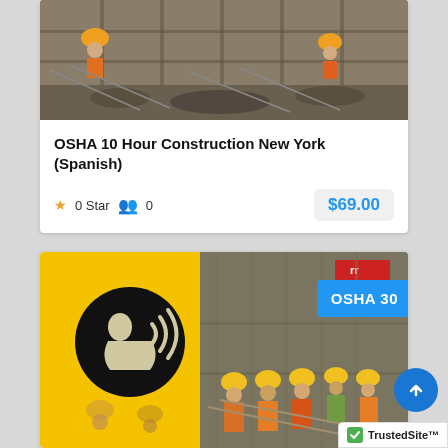[Figure (photo): Construction site photo showing scaffolding and debris, top card]
OSHA 10 Hour Construction New York (Spanish)
★ 0 Star 👥 0   $69.00
[Figure (photo): Yellow card with speaker/audio icon on left and construction workers photo on right, with OSHA 30 blue badge]
TrustedSite